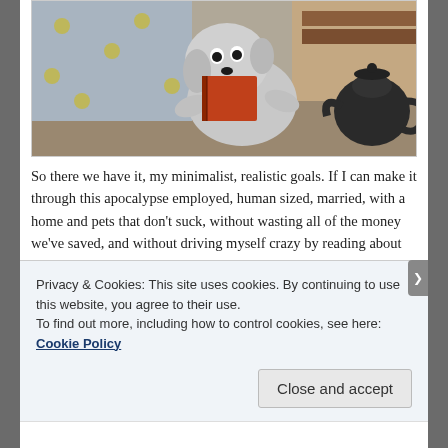[Figure (photo): A clay animation figure (Gromit-like dog character) sitting in a chair reading a red book, with a dark teapot nearby, set in a cozy room.]
So there we have it, my minimalist, realistic goals. If I can make it through this apocalypse employed, human sized, married, with a home and pets that don't suck, without wasting all of the money we've saved, and without driving myself crazy by reading about Armageddon all day, I will be in a better place than most. They aren't stimulating goals, but they're goals all the same.
Privacy & Cookies: This site uses cookies. By continuing to use this website, you agree to their use.
To find out more, including how to control cookies, see here: Cookie Policy